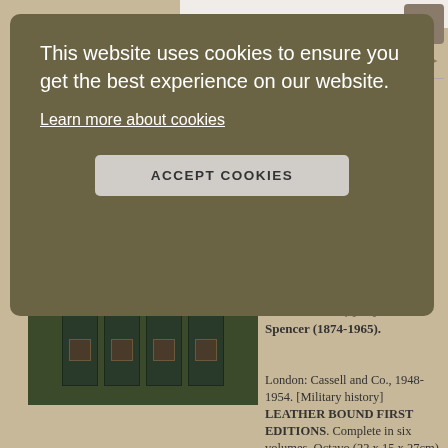[Figure (screenshot): Screenshot of a bookseller website showing a cookie consent overlay over a product listing page for Churchill's Second World War volumes.]
This website uses cookies to ensure you get the best experience on our website.
Learn more about cookies
ACCEPT COOKIES
Alliance; The Hinge of Fate; Closing the Ring; Triumph and Tragedy. CHURCHILL, [Sir] Winston Spencer (1874-1965).
London: Cassell and Co., 1948-1954. [Military history] LEATHER BOUND FIRST EDITIONS. Complete in six volumes. Octavo (22 x 15 x 27cm), pp.xv; 640; pp.xvii; 684; pp.x; 818; pp.xviii; 917; pp.xviii; 673; pp.xviii; 716. With numerous maps and plans, some folding. Elegantly bound in green half morocco, with twin red title..... More >